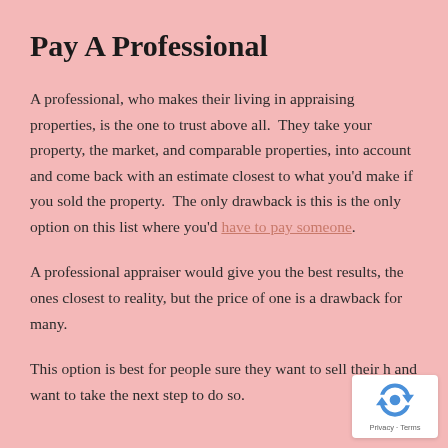Pay A Professional
A professional, who makes their living in appraising properties, is the one to trust above all.  They take your property, the market, and comparable properties, into account and come back with an estimate closest to what you'd make if you sold the property.  The only drawback is this is the only option on this list where you'd have to pay someone.
A professional appraiser would give you the best results, the ones closest to reality, but the price of one is a drawback for many.
This option is best for people sure they want to sell their h and want to take the next step to do so.